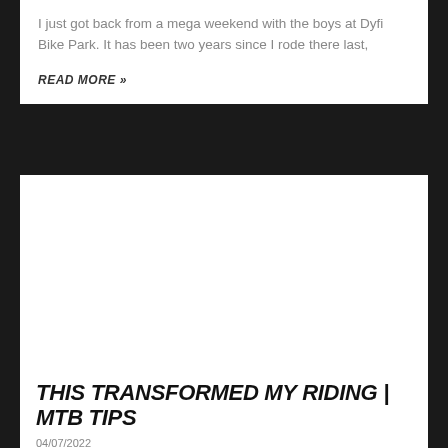I just got back from a mega weekend with the boys at Dyfi Bike Park. It has been two years since I rode there last,
READ MORE »
[Figure (photo): White blank image area for an article thumbnail]
THIS TRANSFORMED MY RIDING | MTB TIPS
04/07/2022